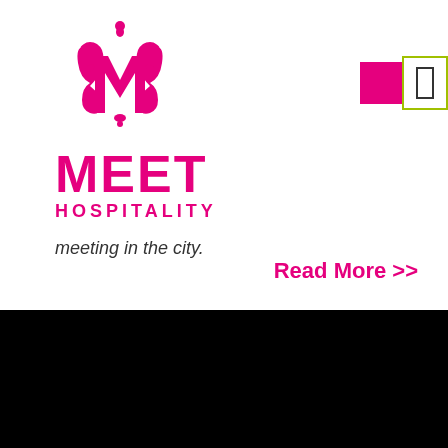[Figure (logo): Meet Hospitality decorative M logo in pink/magenta with ornamental styling]
MEET HOSPITALITY
meeting in the city.
Read More >>
Ready to Book?